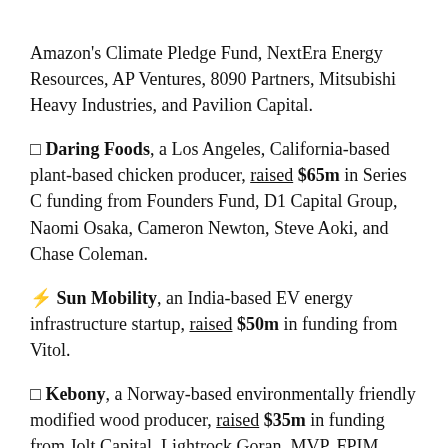Amazon's Climate Pledge Fund, NextEra Energy Resources, AP Ventures, 8090 Partners, Mitsubishi Heavy Industries, and Pavilion Capital.
🍗 Daring Foods, a Los Angeles, California-based plant-based chicken producer, raised $65m in Series C funding from Founders Fund, D1 Capital Group, Naomi Osaka, Cameron Newton, Steve Aoki, and Chase Coleman.
⚡ Sun Mobility, an India-based EV energy infrastructure startup, raised $50m in funding from Vitol.
🌿 Kebony, a Norway-based environmentally friendly modified wood producer, raised $35m in funding from Jolt Capital, Lightrock Goran, MVP, FPIM, PMV, and Investinor.